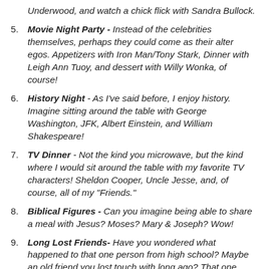Underwood, and watch a chick flick with Sandra Bullock.
5. Movie Night Party - Instead of the celebrities themselves, perhaps they could come as their alter egos. Appetizers with Iron Man/Tony Stark, Dinner with Leigh Ann Tuoy, and dessert with Willy Wonka, of course!
6. History Night - As I've said before, I enjoy history. Imagine sitting around the table with George Washington, JFK, Albert Einstein, and William Shakespeare!
7. TV Dinner - Not the kind you microwave, but the kind where I would sit around the table with my favorite TV characters! Sheldon Cooper, Uncle Jesse, and, of course, all of my "Friends."
8. Biblical Figures - Can you imagine being able to share a meal with Jesus? Moses? Mary & Joseph? Wow!
9. Long Lost Friends- Have you wondered what happened to that one person from high school? Maybe an old friend you lost touch with long ago? That one